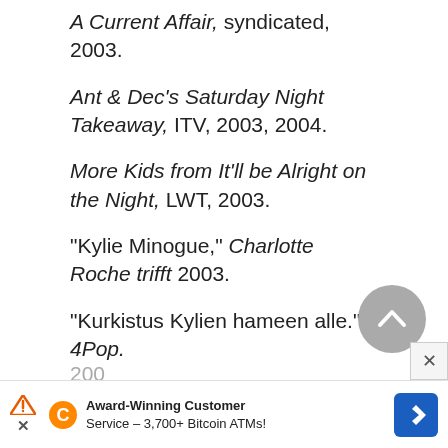A Current Affair, syndicated, 2003.
Ant & Dec's Saturday Night Takeaway, ITV, 2003, 2004.
More Kids from It'll be Alright on the Night, LWT, 2003.
"Kylie Minogue," Charlotte Roche trifft 2003.
"Kurkistus Kylien hameen alle." 4Pop. 200[cut off]